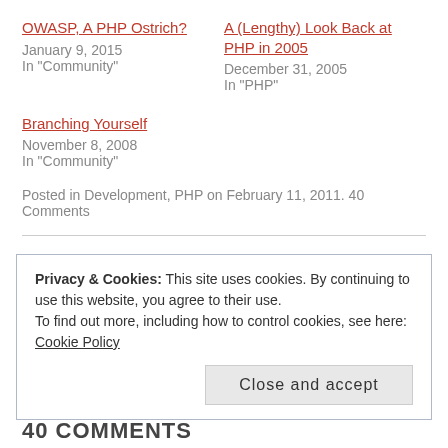OWASP, A PHP Ostrich?
January 9, 2015
In "Community"
A (Lengthy) Look Back at PHP in 2005
December 31, 2005
In "PHP"
Branching Yourself
November 8, 2008
In "Community"
Posted in Development, PHP on February 11, 2011. 40 Comments
Privacy & Cookies: This site uses cookies. By continuing to use this website, you agree to their use.
To find out more, including how to control cookies, see here: Cookie Policy
Close and accept
40 COMMENTS